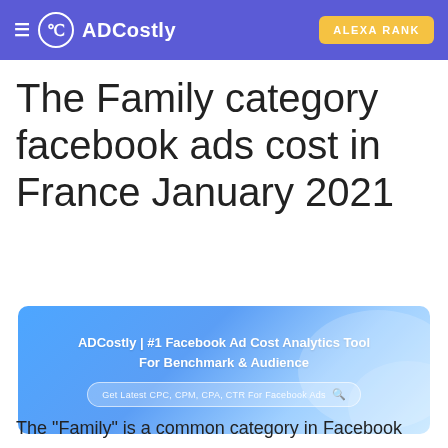ADCostly | ALEXA RANK
The Family category facebook ads cost in France January 2021
[Figure (screenshot): ADCostly banner advertisement: ADCostly | #1 Facebook Ad Cost Analytics Tool For Benchmark & Audience, with a search bar reading 'Get Latest CPC, CPM, CPA, CTR For Facebook Ads']
The "Family" is a common category in Facebook